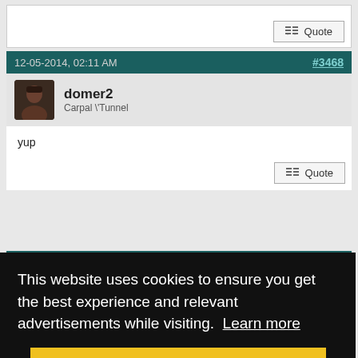[Figure (screenshot): Partial forum post with Quote button visible at bottom right]
12-05-2014, 02:11 AM  #3468
[Figure (photo): Avatar of user domer2 - dark photo of a man]
domer2
Carpal \Tunnel
yup
This website uses cookies to ensure you get the best experience and relevant advertisements while visiting.  Learn more
Got it!
#3469
who's shot in face, or was she?